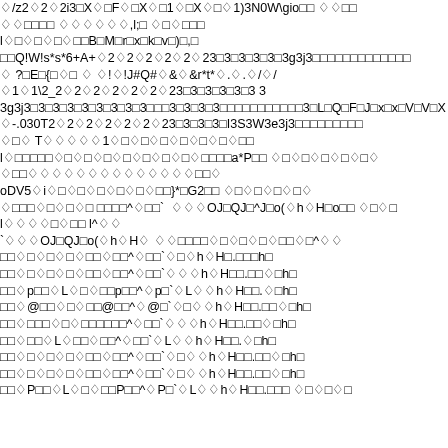Corrupted/encoded binary or garbled text content containing mixed symbols, diamond replacement characters, alphanumeric sequences, and special characters across multiple lines. Content appears to be a binary or encoding artifact.